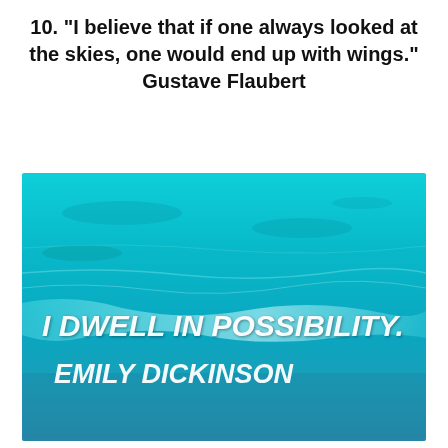10. “I believe that if one always looked at the skies, one would end up with wings.” Gustave Flaubert
[Figure (illustration): Ocean water background image in shades of turquoise and blue with white text overlay reading 'I DWELL IN POSSIBILITY.' and 'EMILY DICKINSON']